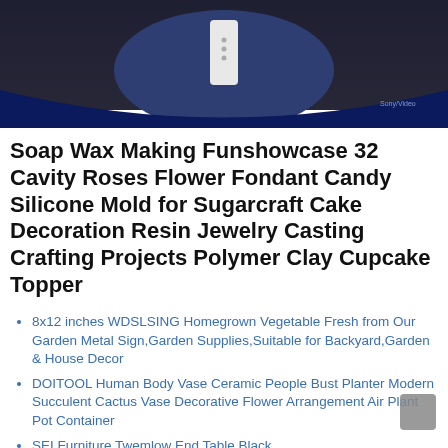[Figure (photo): Person in a dark blue suit with white shirt, standing against a dark background with a curved dark blue decorative shape at the bottom of the image.]
Soap Wax Making Funshowcase 32 Cavity Roses Flower Fondant Candy Silicone Mold for Sugarcraft Cake Decoration Resin Jewelry Casting Crafting Projects Polymer Clay Cupcake Topper
8x12 inches WDSLSING Homegrown Vegetable Fresh from Our Garden Metal Sign,Garden Supplies,Suitable for Backyard,Garden & House Decor
DOITOOL Human Body Vase Ceramic People Bust Planter Modern Succulent Cactus Vase Decorative Flower Arrangement Air Plant Pot Container
SEI Furniture Twemlow End Table Black
Server Memory/Workstation Memory OFFTEK 16GB Replacement